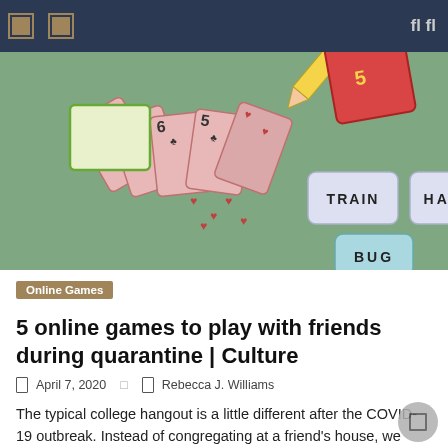navigation header with icons
[Figure (illustration): Illustration of playing cards fanned out, a pencil, word tiles reading TRAIN, HAM, BUG, on a sage green background]
Online Games
5 online games to play with friends during quarantine | Culture
April 7, 2020   Rebecca J. Williams
The typical college hangout is a little different after the COVID-19 outbreak. Instead of congregating at a friend's house, we were forced to congregate on FaceTime and Zoom. While it is nice to be able to chat with friends online, it